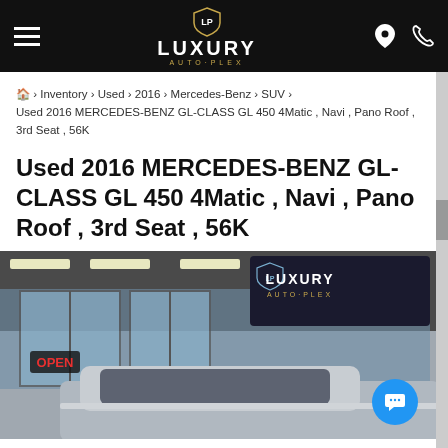LUXURY AUTO·PLEX
🏠 › Inventory › Used › 2016 › Mercedes-Benz › SUV › Used 2016 MERCEDES-BENZ GL-CLASS GL 450 4Matic , Navi , Pano Roof , 3rd Seat , 56K
Used 2016 MERCEDES-BENZ GL-CLASS GL 450 4Matic , Navi , Pano Roof , 3rd Seat , 56K
[Figure (photo): Exterior of Luxury Auto Plex dealership showing glass doors, interior lighting, an OPEN neon sign, and a partial view of a silver SUV in the foreground. The dealership logo is visible in the upper right of the image.]